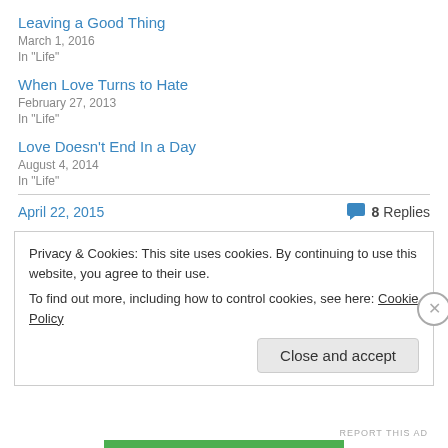Leaving a Good Thing
March 1, 2016
In "Life"
When Love Turns to Hate
February 27, 2013
In "Life"
Love Doesn't End In a Day
August 4, 2014
In "Life"
April 22, 2015
8 Replies
Privacy & Cookies: This site uses cookies. By continuing to use this website, you agree to their use. To find out more, including how to control cookies, see here: Cookie Policy